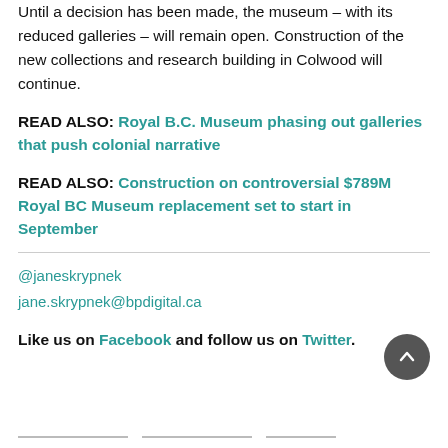Until a decision has been made, the museum – with its reduced galleries – will remain open. Construction of the new collections and research building in Colwood will continue.
READ ALSO: Royal B.C. Museum phasing out galleries that push colonial narrative
READ ALSO: Construction on controversial $789M Royal BC Museum replacement set to start in September
@janeskrypnek
jane.skrypnek@bpdigital.ca
Like us on Facebook and follow us on Twitter.